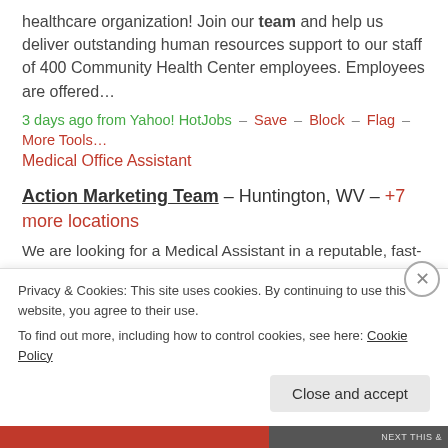healthcare organization! Join our team and help us deliver outstanding human resources support to our staff of 400 Community Health Center employees. Employees are offered…
3 days ago from Yahoo! HotJobs – Save – Block – Flag – More Tools…
Medical Office Assistant
Action Marketing Team – Huntington, WV – +7 more locations
We are looking for a Medical Assistant in a reputable, fast-paced Physician?s Office. The Medical Assistant is responsible for updating patients? medical records, filling out
Privacy & Cookies: This site uses cookies. By continuing to use this website, you agree to their use. To find out more, including how to control cookies, see here: Cookie Policy
Close and accept